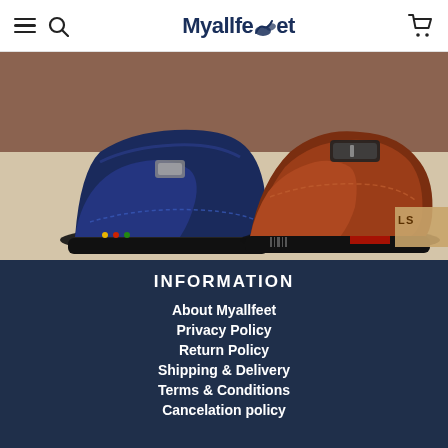Myallfeet
[Figure (photo): Two leather shoes on a neutral background — a navy blue high-top casual shoe on the left and a brown formal dress shoe on the right]
INFORMATION
About Myallfeet
Privacy Policy
Return Policy
Shipping & Delivery
Terms & Conditions
Cancelation policy